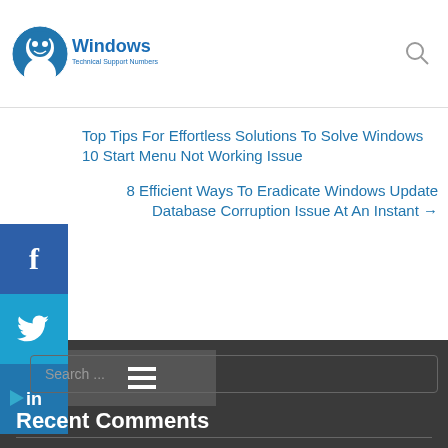Windows Technical Support Numbers
Top Tips For Effortless Solutions To Solve Windows 10 Start Menu Not Working Issue
8 Efficient Ways To Eradicate Windows Update Database Corruption Issue At An Instant →
Search ...
Recent Comments
Archives
September 2020